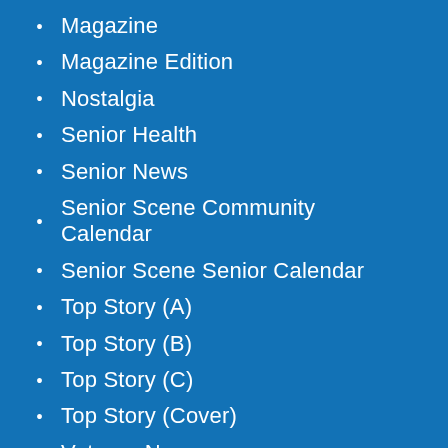Magazine
Magazine Edition
Nostalgia
Senior Health
Senior News
Senior Scene Community Calendar
Senior Scene Senior Calendar
Top Story (A)
Top Story (B)
Top Story (C)
Top Story (Cover)
Veteran News